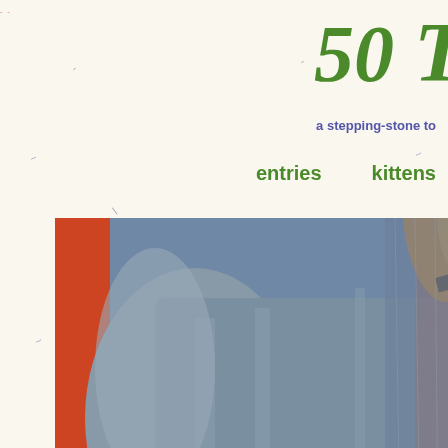50 T
a stepping-stone to
entries   kittens
[Figure (photo): Close-up photograph of a cat (grey tabby) being held or sitting with a person wearing a denim jacket, with an orange background visible on the left side. A fluffy ginger cat tail or paw is visible in the upper center.]